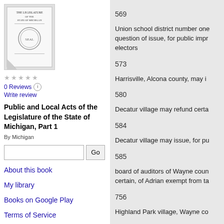[Figure (illustration): Book cover thumbnail for Public and Local Acts of the Legislature of the State of Michigan]
0 Reviews
Write review
Public and Local Acts of the Legislature of the State of Michigan, Part 1
By Michigan
Go (search box)
About this book
My library
Books on Google Play
Terms of Service
569
Union school district number one question of issue, for public impr electors
573
Harrisville, Alcona county, may i
580
Decatur village may refund certa
584
Decatur village may issue, for pu
585
board of auditors of Wayne coun certain, of Adrian exempt from ta
756
Highland Park village, Wayne co
843
Empire and Glen Arbor township
Lawrence village, Van Buren cou Boulevards:
act relative to, etc., of Detroit, am
.471, 553-5